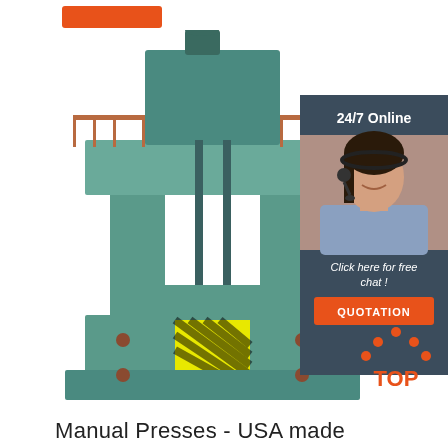[Figure (other): Orange rectangular button/badge at top left of page]
[Figure (photo): Large industrial hydraulic press machine, teal/green colored, tall tower structure with platform and safety railings, yellow hazard stripes visible at base]
[Figure (photo): Sidebar panel with dark blue-gray background showing '24/7 Online' text, photo of smiling female customer service agent wearing headset, 'Click here for free chat!' text, and orange QUOTATION button]
[Figure (other): TOP icon with orange dots forming an arch/triangle above the word TOP in orange text]
Manual Presses - USA made